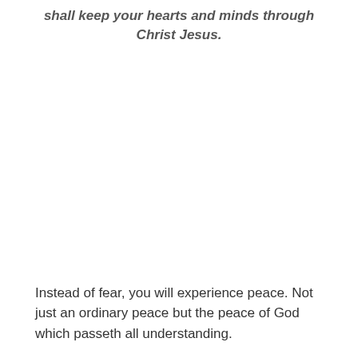shall keep your hearts and minds through Christ Jesus.
Instead of fear, you will experience peace. Not just an ordinary peace but the peace of God which passeth all understanding.